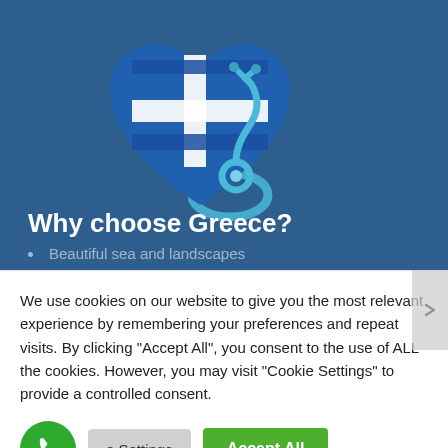[Figure (illustration): A heart-shaped object decorated with the Greek flag (blue and white cross/stripes) with a blue medical stethoscope wrapped around it, on a dark blue background.]
Why choose Greece?
Beautiful sea and landscapes
We use cookies on our website to give you the most relevant experience by remembering your preferences and repeat visits. By clicking “Accept All”, you consent to the use of ALL the cookies. However, you may visit "Cookie Settings" to provide a controlled consent.